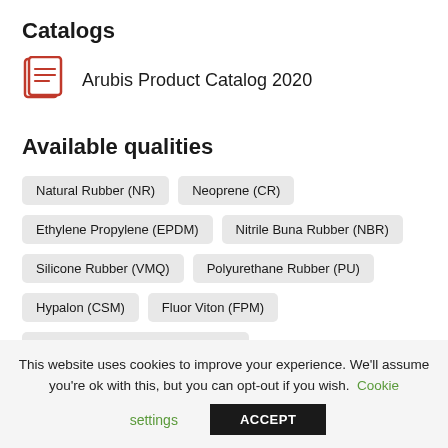Catalogs
Arubis Product Catalog 2020
Available qualities
Natural Rubber (NR)
Neoprene (CR)
Ethylene Propylene (EPDM)
Nitrile Buna Rubber (NBR)
Silicone Rubber (VMQ)
Polyurethane Rubber (PU)
Hypalon (CSM)
Fluor Viton (FPM)
Styrene Buthadiene Rubber (SBR)
This website uses cookies to improve your experience. We'll assume you're ok with this, but you can opt-out if you wish. Cookie settings ACCEPT